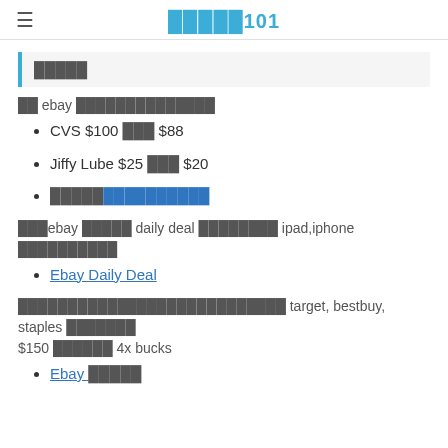≡  ░░░░░101
░░░░░
░░ ebay ░░░░░░░░░░░░░░
CVS $100 ░░░ $88
Jiffy Lube $25 ░░░ $20
░░░░░[░░░░░░░░░░]
░░░ebay ░░░░░ daily deal ░░░░░░░░ ipad,iphone ░░░░░░░░░░
Ebay Daily Deal
░░░░░░░░░░░░░░░░░░░░░░░░░░░ target, bestbuy, staples ░░░░░░░ $150 ░░░░░░ 4x bucks
Ebay ░░░░░